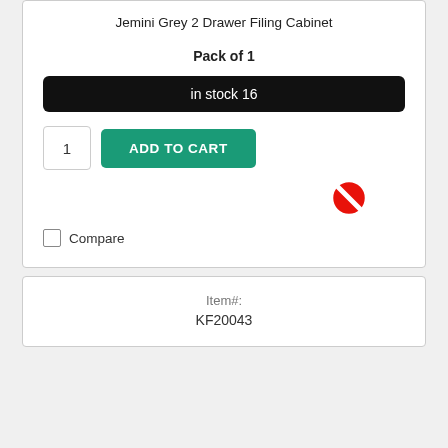Jemini Grey 2 Drawer Filing Cabinet
Pack of 1
in stock 16
1
ADD TO CART
[Figure (illustration): Red no/cancel symbol (circle with diagonal line)]
Compare
Item#:
KF20043